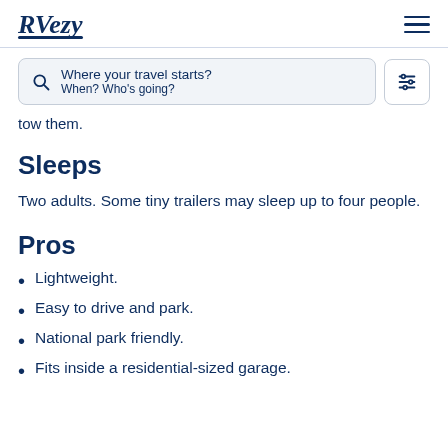RVezy
[Figure (screenshot): Search bar with placeholder text 'Where your travel starts?' and 'When? Who's going?' alongside a filter/sliders icon button]
tow them.
Sleeps
Two adults. Some tiny trailers may sleep up to four people.
Pros
Lightweight.
Easy to drive and park.
National park friendly.
Fits inside a residential-sized garage.